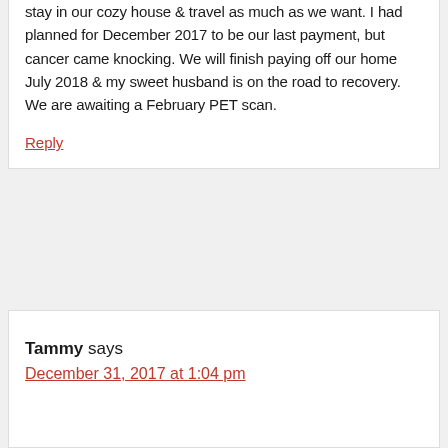stay in our cozy house & travel as much as we want. I had planned for December 2017 to be our last payment, but cancer came knocking. We will finish paying off our home July 2018 & my sweet husband is on the road to recovery. We are awaiting a February PET scan.
Reply
Tammy says
December 31, 2017 at 1:04 pm